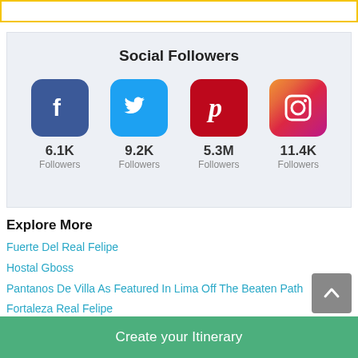[Figure (infographic): Social Followers widget showing Facebook 6.1K, Twitter 9.2K, Pinterest 5.3M, Instagram 11.4K followers]
Explore More
Fuerte Del Real Felipe
Hostal Gboss
Pantanos De Villa As Featured In Lima Off The Beaten Path
Fortaleza Real Felipe
Ozy Retreat
Municipalidad Distrital De San Mateo
Create your Itinerary